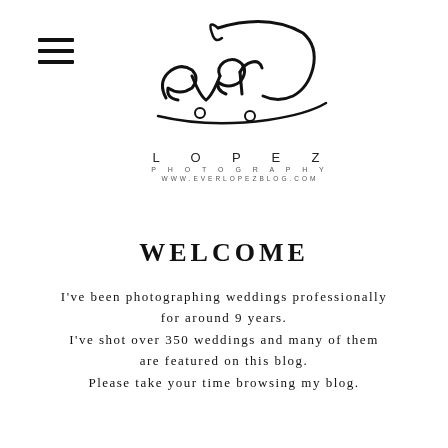[Figure (logo): Ever Lopez Photography logo with stylized script lettering 'ever' above 'LOPEZ' in spaced capitals and 'PHOTOGRAPHY' below, with website URL www.everlopezblog.com]
WELCOME
I've been photographing weddings professionally for around 9 years. I've shot over 350 weddings and many of them are featured on this blog. Please take your time browsing my blog.